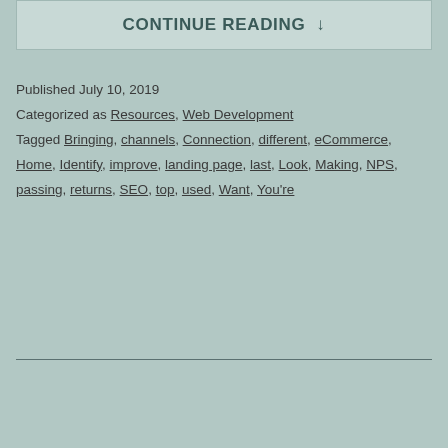CONTINUE READING ↓
Published July 10, 2019
Categorized as Resources, Web Development
Tagged Bringing, channels, Connection, different, eCommerce, Home, Identify, improve, landing page, last, Look, Making, NPS, passing, returns, SEO, top, used, Want, You're